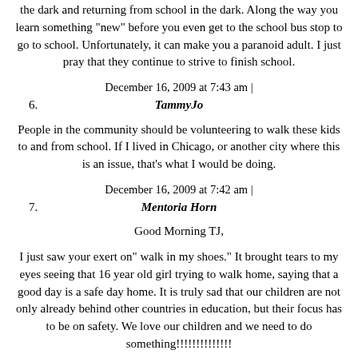the dark and returning from school in the dark. Along the way you learn something "new" before you even get to the school bus stop to go to school. Unfortunately, it can make you a paranoid adult. I just pray that they continue to strive to finish school.
December 16, 2009 at 7:43 am |
6.	TammyJo
People in the community should be volunteering to walk these kids to and from school. If I lived in Chicago, or another city where this is an issue, that's what I would be doing.
December 16, 2009 at 7:42 am |
7.	Mentoria Horn
Good Morning TJ,
I just saw your exert on" walk in my shoes." It brought tears to my eyes seeing that 16 year old girl trying to walk home, saying that a good day is a safe day home. It is truly sad that our children are not only already behind other countries in education, but their focus has to be on safety. We love our children and we need to do something!!!!!!!!!!!!!!